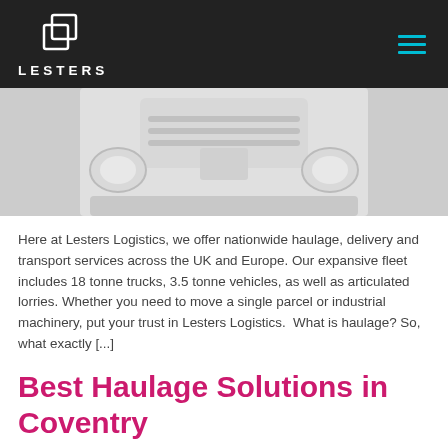LESTERS
[Figure (photo): Close-up front view of a white truck/lorry cab, light grey background]
Here at Lesters Logistics, we offer nationwide haulage, delivery and transport services across the UK and Europe. Our expansive fleet includes 18 tonne trucks, 3.5 tonne vehicles, as well as articulated lorries. Whether you need to move a single parcel or industrial machinery, put your trust in Lesters Logistics.  What is haulage? So, what exactly [...]
Best Haulage Solutions in Coventry